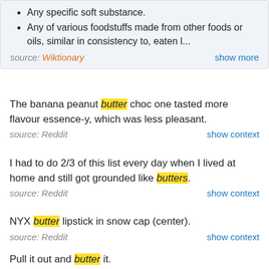Any specific soft substance.
Any of various foodstuffs made from other foods or oils, similar in consistency to, eaten l...
source: Wiktionary    show more
The banana peanut butter choc one tasted more flavour essence-y, which was less pleasant.
source: Reddit    show context
I had to do 2/3 of this list every day when I lived at home and still got grounded like butters.
source: Reddit    show context
NYX butter lipstick in snow cap (center).
source: Reddit    show context
Pull it out and butter it.
source: Reddit    show context